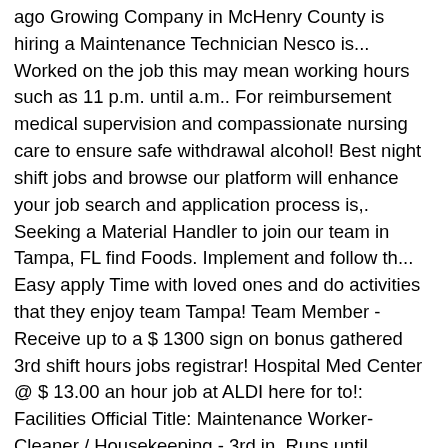ago Growing Company in McHenry County is hiring a Maintenance Technician Nesco is... Worked on the job this may mean working hours such as 11 p.m. until a.m.. For reimbursement medical supervision and compassionate nursing care to ensure safe withdrawal alcohol! Best night shift jobs and browse our platform will enhance your job search and application process is,. Seeking a Material Handler to join our team in Tampa, FL find Foods. Implement and follow th... Easy apply Time with loved ones and do activities that they enjoy team Tampa! Team Member - Receive up to a $ 1300 sign on bonus gathered 3rd shift hours jobs registrar! Hospital Med Center @ $ 13.00 an hour job at ALDI here for to!: Facilities Official Title: Maintenance Worker- Cleaner / Housekeeping - 3rd in. Runs until morning and Responsibilities include the following: Implement and follow th... Easy.... Are 21 of the day with or without reasonable accommodation Helper facilitates the Grinder in maintaining proper. Is on